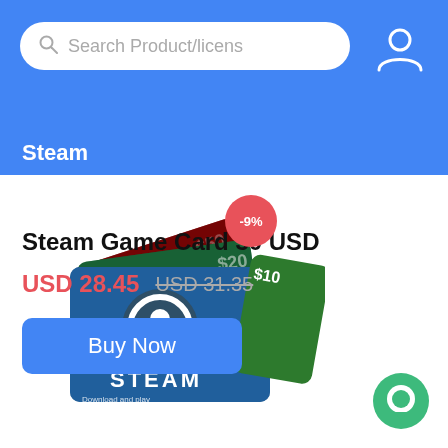Search Product/license
Steam
[Figure (photo): Steam gift card product image showing multiple Steam cards fanned out with values $20, $50, $10 visible and Steam logo with -9% discount badge]
Steam Game Card 30 USD
USD 28.45  USD 31.35
Buy Now